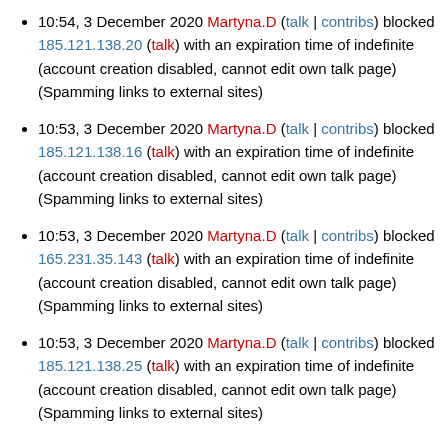10:54, 3 December 2020 Martyna.D (talk | contribs) blocked 185.121.138.20 (talk) with an expiration time of indefinite (account creation disabled, cannot edit own talk page) (Spamming links to external sites)
10:53, 3 December 2020 Martyna.D (talk | contribs) blocked 185.121.138.16 (talk) with an expiration time of indefinite (account creation disabled, cannot edit own talk page) (Spamming links to external sites)
10:53, 3 December 2020 Martyna.D (talk | contribs) blocked 165.231.35.143 (talk) with an expiration time of indefinite (account creation disabled, cannot edit own talk page) (Spamming links to external sites)
10:53, 3 December 2020 Martyna.D (talk | contribs) blocked 185.121.138.25 (talk) with an expiration time of indefinite (account creation disabled, cannot edit own talk page) (Spamming links to external sites)